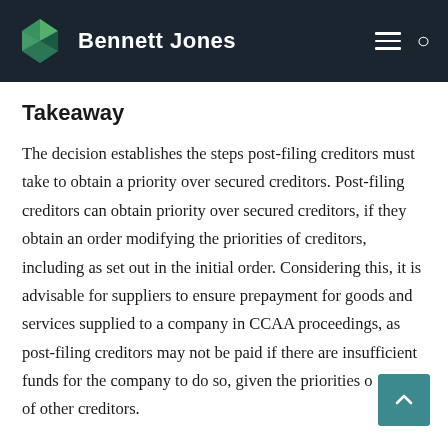Bennett Jones
Takeaway
The decision establishes the steps post-filing creditors must take to obtain a priority over secured creditors. Post-filing creditors can obtain priority over secured creditors, if they obtain an order modifying the priorities of creditors, including as set out in the initial order. Considering this, it is advisable for suppliers to ensure prepayment for goods and services supplied to a company in CCAA proceedings, as post-filing creditors may not be paid if there are insufficient funds for the company to do so, given the priorities of claims of other creditors.